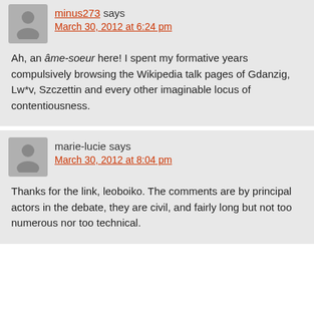minus273 says
March 30, 2012 at 6:24 pm
Ah, an âme-soeur here! I spent my formative years compulsively browsing the Wikipedia talk pages of Gdanzig, Lw*v, Szczettin and every other imaginable locus of contentiousness.
marie-lucie says
March 30, 2012 at 8:04 pm
Thanks for the link, leoboiko. The comments are by principal actors in the debate, they are civil, and fairly long but not too numerous nor too technical.